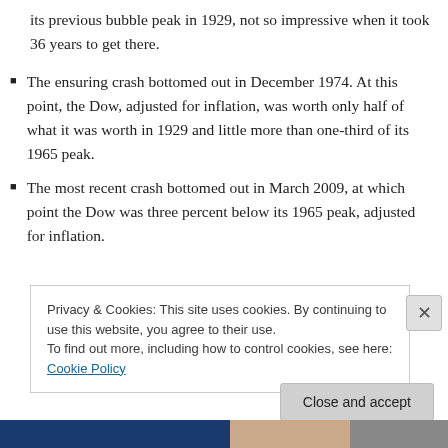its previous bubble peak in 1929, not so impressive when it took 36 years to get there.
The ensuring crash bottomed out in December 1974. At this point, the Dow, adjusted for inflation, was worth only half of what it was worth in 1929 and little more than one-third of its 1965 peak.
The most recent crash bottomed out in March 2009, at which point the Dow was three percent below its 1965 peak, adjusted for inflation.
Privacy & Cookies: This site uses cookies. By continuing to use this website, you agree to their use. To find out more, including how to control cookies, see here: Cookie Policy
Close and accept